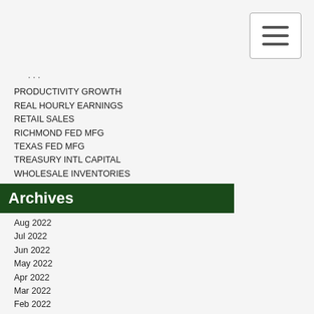PRODUCTIVITY GROWTH
REAL HOURLY EARNINGS
RETAIL SALES
RICHMOND FED MFG
TEXAS FED MFG
TREASURY INTL CAPITAL
WHOLESALE INVENTORIES
Archives
Aug 2022
Jul 2022
Jun 2022
May 2022
Apr 2022
Mar 2022
Feb 2022
Jan 2022
Dec 2021
Nov 2021
Oct 2021
Sep 2021
Aug 2021
Jul 2021
Jun 2021
May 2021
Apr 2021
Mar 2021
Feb 2021
Jan 2021
Dec 2020
Nov 2020
Oct 2020
Sep 2020
Aug 2020
Jul 2020
Jun 2020